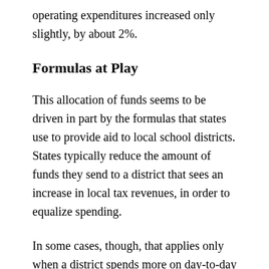operating expenditures increased only slightly, by about 2%.
Formulas at Play
This allocation of funds seems to be driven in part by the formulas that states use to provide aid to local school districts. States typically reduce the amount of funds they send to a district that sees an increase in local tax revenues, in order to equalize spending.
In some cases, though, that applies only when a district spends more on day-to-day operations, not when it boosts building improvements or new construction. So to avoid losing state aid, districts are more likely to use